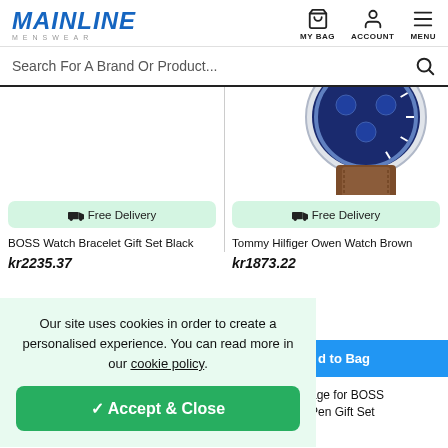[Figure (logo): Mainline Menswear logo in blue italic text with 'MENSWEAR' subtitle]
[Figure (infographic): Navigation icons: shopping bag (MY BAG), person (ACCOUNT), hamburger menu (MENU)]
Search For A Brand Or Product...
[Figure (photo): Tommy Hilfiger Owen Watch with blue chronograph face and brown leather strap, partially visible at top right]
Free Delivery
Free Delivery
BOSS Watch Bracelet Gift Set Black
Tommy Hilfiger Owen Watch Brown
kr2235.37
kr1873.22
Our site uses cookies in order to create a personalised experience. You can read more in our cookie policy.
Accept & Close
d to Bag
mage for BOSS d Pen Gift Set